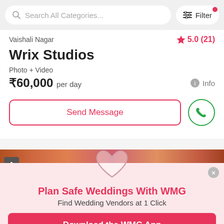[Figure (screenshot): Search bar with 'Search All Categories...' placeholder and Filter button with active pink dot]
Vaishali Nagar
5.0 (21)
Wrix Studios
Photo + Video
₹60,000 per day
Info
Send Message
[Figure (photo): Partial flower/floral background image strip]
Plan Safe Weddings With WMG
Find Wedding Vendors at 1 Click
Download the WMG App